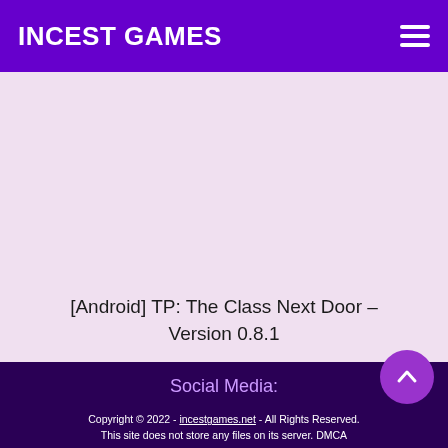INCEST GAMES
[Android] TP: The Class Next Door – Version 0.8.1
Social Media:
Copyright © 2022 - incestgames.net - All Rights Reserved. This site does not store any files on its server. DMCA